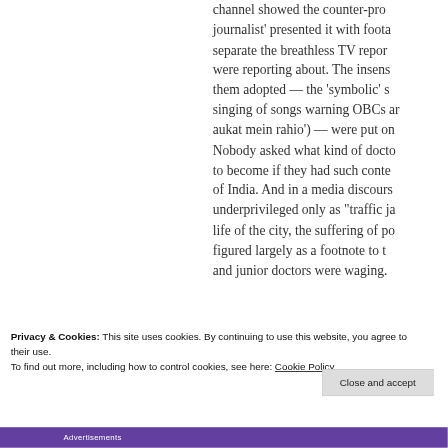channel showed the counter-pro journalist' presented it with foota separate the breathless TV repor were reporting about. The insens them adopted — the 'symbolic' s singing of songs warning OBCs an aukat mein rahio') — were put on Nobody asked what kind of docto to become if they had such conte of India. And in a media discours underprivileged only as "traffic ja life of the city, the suffering of po figured largely as a footnote to t and junior doctors were waging.
Privacy & Cookies: This site uses cookies. By continuing to use this website, you agree to their use.
To find out more, including how to control cookies, see here: Cookie Policy
Close and accept
Advertisements